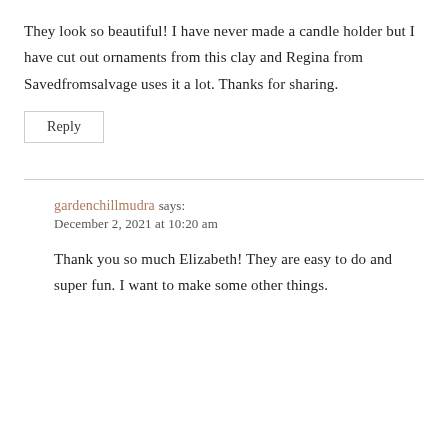They look so beautiful! I have never made a candle holder but I have cut out ornaments from this clay and Regina from Savedfromsalvage uses it a lot. Thanks for sharing.
Reply
gardenchillmudra says:
December 2, 2021 at 10:20 am
Thank you so much Elizabeth! They are easy to do and super fun. I want to make some other things.